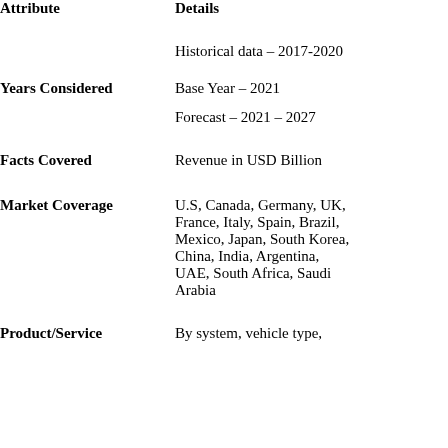| Attribute | Details |
| --- | --- |
|  | Historical data – 2017-2020 |
| Years Considered | Base Year – 2021 |
|  | Forecast – 2021 – 2027 |
| Facts Covered | Revenue in USD Billion |
| Market Coverage | U.S, Canada, Germany, UK, France, Italy, Spain, Brazil, Mexico, Japan, South Korea, China, India, Argentina, UAE, South Africa, Saudi Arabia |
| Product/Service | By system, vehicle type, |